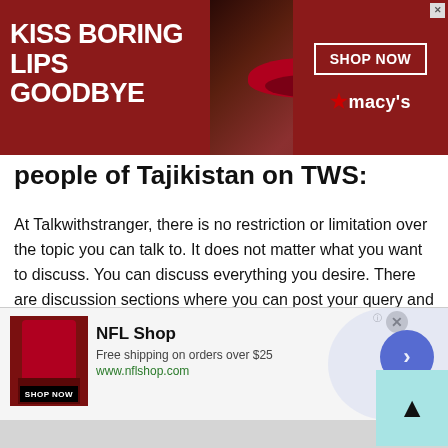[Figure (screenshot): Macy's advertisement banner with dark red background showing a woman's face with red lipstick, text 'KISS BORING LIPS GOODBYE', 'SHOP NOW' button, and Macy's star logo]
people of Tajikistan on TWS:
At Talkwithstranger, there is no restriction or limitation over the topic you can talk to. It does not matter what you want to discuss. You can discuss everything you desire. There are discussion sections where you can post your query and discuss. Otherwise, if you wish to discuss an issue that you believe pertains to a certain nationality then you can choose that option as well. Say for instance you want to discuss the eradication of child labor with
[Figure (screenshot): NFL Shop advertisement at the bottom showing a red jersey product image, NFL Shop title, 'Free shipping on orders over $25', www.nflshop.com URL, SHOP NOW button, and a blue circular next arrow button]